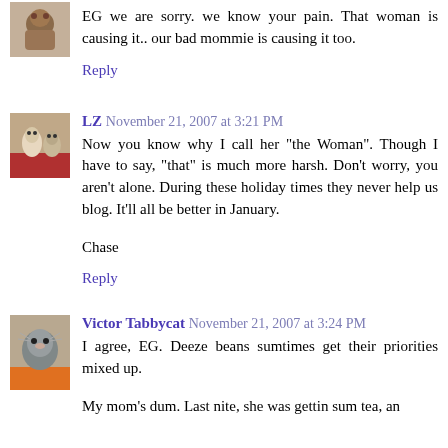EG we are sorry. we know your pain. That woman is causing it.. our bad mommie is causing it too.
Reply
LZ  November 21, 2007 at 3:21 PM
Now you know why I call her "the Woman". Though I have to say, "that" is much more harsh. Don't worry, you aren't alone. During these holiday times they never help us blog. It'll all be better in January.
Chase
Reply
Victor Tabbycat  November 21, 2007 at 3:24 PM
I agree, EG. Deeze beans sumtimes get their priorities mixed up.
My mom's dum. Last nite, she was gettin sum tea, an